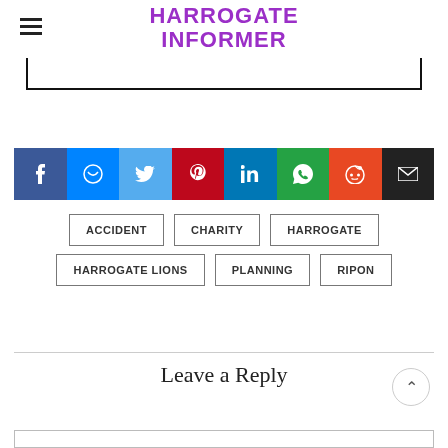HARROGATE INFORMER
[Figure (screenshot): Search input box, partially visible with black border on bottom and sides]
[Figure (infographic): Social sharing bar with 8 buttons: Facebook (blue), Messenger (blue), Twitter (light blue), Pinterest (red), LinkedIn (dark blue), WhatsApp (green), Reddit (orange), Email (black)]
ACCIDENT
CHARITY
HARROGATE
HARROGATE LIONS
PLANNING
RIPON
Leave a Reply